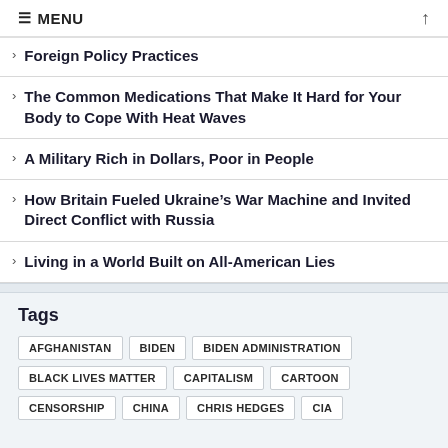≡ MENU ↑
Foreign Policy Practices
The Common Medications That Make It Hard for Your Body to Cope With Heat Waves
A Military Rich in Dollars, Poor in People
How Britain Fueled Ukraine's War Machine and Invited Direct Conflict with Russia
Living in a World Built on All-American Lies
Tags
AFGHANISTAN  BIDEN  BIDEN ADMINISTRATION  BLACK LIVES MATTER  CAPITALISM  CARTOON  CENSORSHIP  CHINA  CHRIS HEDGES  CIA